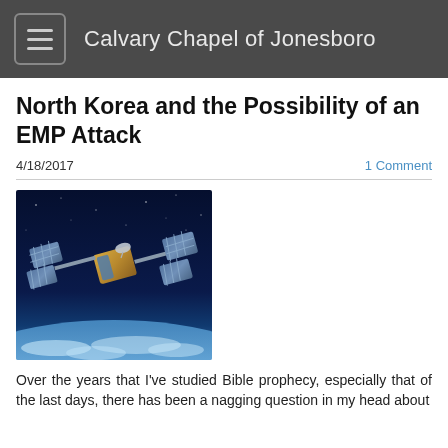Calvary Chapel of Jonesboro
North Korea and the Possibility of an EMP Attack
4/18/2017
1 Comment
[Figure (photo): Satellite in orbit above Earth, with solar panels extended, set against a dark blue space background with Earth's atmosphere visible below.]
Over the years that I've studied Bible prophecy, especially that of the last days, there has been a nagging question in my head about